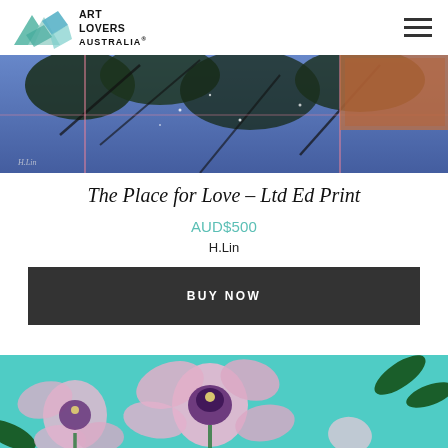Art Lovers Australia
[Figure (photo): Top portion of an abstract painting with blue tones, dark foliage silhouettes, pink grid lines, and an orange-brown textured square in upper right corner]
The Place for Love – Ltd Ed Print
AUD$500
H.Lin
BUY NOW
[Figure (photo): Bottom portion of a painting showing pink orchid flowers with purple center on a teal/turquoise background with dark green leaves]